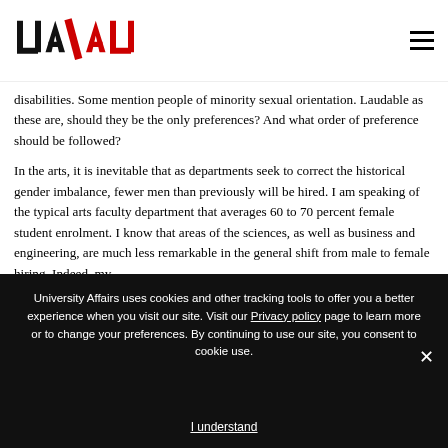UA/AU logo and navigation
disabilities. Some mention people of minority sexual orientation. Laudable as these are, should they be the only preferences? And what order of preference should be followed?
In the arts, it is inevitable that as departments seek to correct the historical gender imbalance, fewer men than previously will be hired. I am speaking of the typical arts faculty department that averages 60 to 70 percent female student enrolment. I know that areas of the sciences, as well as business and engineering, are much less remarkable in the general shift from male to female hiring. Indeed, my
University Affairs uses cookies and other tracking tools to offer you a better experience when you visit our site. Visit our Privacy policy page to learn more or to change your preferences. By continuing to use our site, you consent to cookie use.
I understand